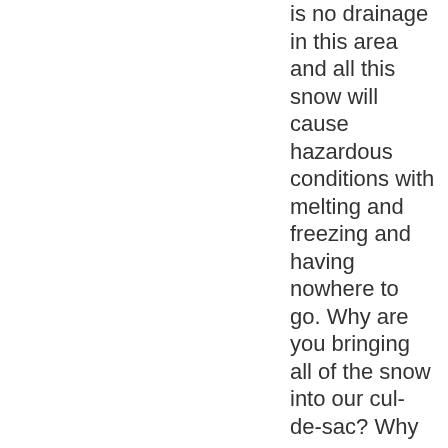is no drainage in this area and all this snow will cause hazardous conditions with melting and freezing and having nowhere to go. Why are you bringing all of the snow into our cul-de-sac? Why are you continuously putting snow on a stone wall where someone could get